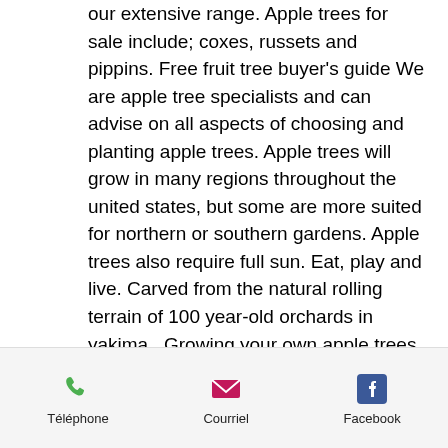our extensive range. Apple trees for sale include; coxes, russets and pippins. Free fruit tree buyer's guide We are apple tree specialists and can advise on all aspects of choosing and planting apple trees. Apple trees will grow in many regions throughout the united states, but some are more suited for northern or southern gardens. Apple trees also require full sun. Eat, play and live. Carved from the natural rolling terrain of 100 year-old orchards in yakima,. Growing your own apple trees is affordable and fun. Buy an apple tree online from our wide selection suitable for every climate,. The apple tree is a type of fruit tree. It takes 28 days to grow to maturity, after which it will produce one apple each day during the fall. If your apple trees are not growing well and the fruits are small, it often indicates a growing problem.
Téléphone  Courriel  Facebook